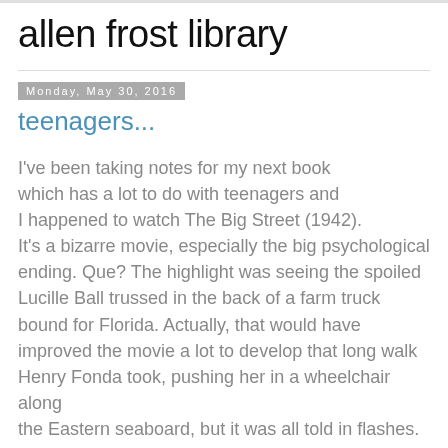allen frost library
Monday, May 30, 2016
teenagers...
I've been taking notes for my next book which has a lot to do with teenagers and I happened to watch The Big Street (1942). It's a bizarre movie, especially the big psychological ending. Que? The highlight was seeing the spoiled Lucille Ball trussed in the back of a farm truck bound for Florida. Actually, that would have improved the movie a lot to develop that long walk Henry Fonda took, pushing her in a wheelchair along the Eastern seaboard, but it was all told in flashes.
[Figure (other): Partially visible image placeholder at bottom of page]